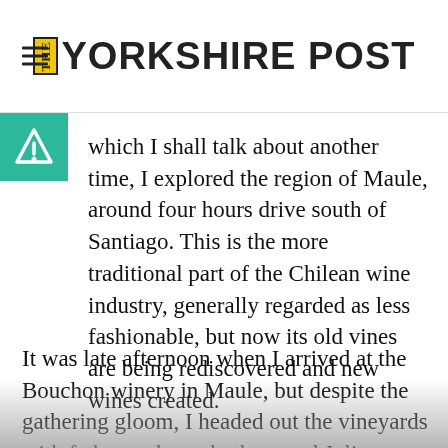THE YORKSHIRE POST
which I shall talk about another time, I explored the region of Maule, around four hours drive south of Santiago. This is the more traditional part of the Chilean wine industry, generally regarded as less fashionable, but now its old vines are being rediscovered and new wines created.
It was late afternoon when I arrived at the Bouchon winery in Maule, but despite the gathering gloom, I headed out the vineyards with father and son, both named Julio Bouchon, to inspect a field of old, twisted vines. They think they are around 120 years